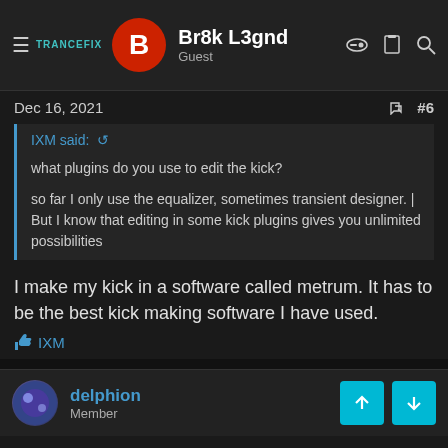TRANCEFIX — Br8k L3gnd, Guest
Dec 16, 2021   #6
IXM said: ↺

what plugins do you use to edit the kick?

so far I only use the equalizer, sometimes transient designer. | But I know that editing in some kick plugins gives you unlimited possibilities
I make my kick in a software called metrum. It has to be the best kick making software I have used.
👍 IXM
delphion
Member